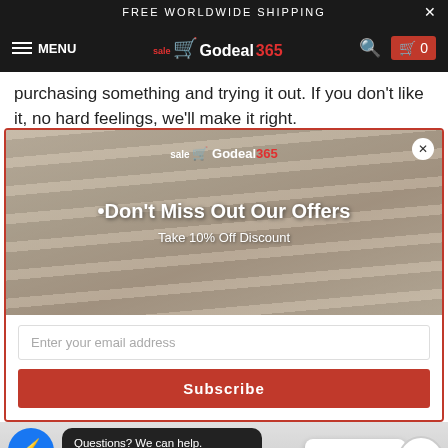FREE WORLDWIDE SHIPPING
[Figure (screenshot): Godeal365 e-commerce website navigation bar with hamburger menu, logo, search and cart icons]
purchasing something and trying it out. If you don't like it, no hard feelings, we'll make it right.
[Figure (screenshot): Modal popup overlay showing Godeal365 logo over closet/hangers background image with headline 'Don't Miss Out Our Offers', subline 'Take 10% Off Discount', email input field, and Subscribe button]
[Figure (screenshot): Bottom area showing checkout screenshot with Messenger and WhatsApp chat widgets, 'Questions? We can help. Chat with us now.' bubble, 'Chat with us' button, and trust badge icons including SATISFACTIO and SECURE]